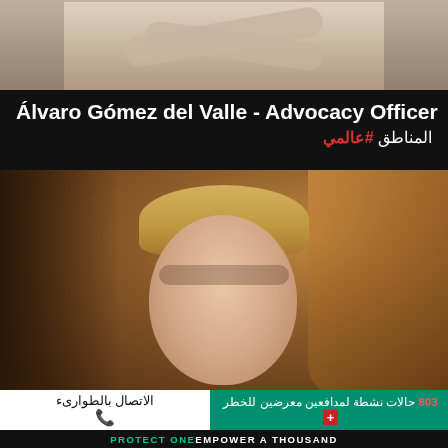[Figure (photo): Top portion of a person with arms crossed, wearing white shirt, dark background]
Álvaro Gómez del Valle - Advocacy Officer
المناطق #عالمي
[Figure (photo): Close-up portrait of a smiling blonde woman]
الاتصال بالطوارىء
803 حالات نشطة لمدافعين معرضين للخطر
PROTECT ONE EMPOWER A THOUSAND